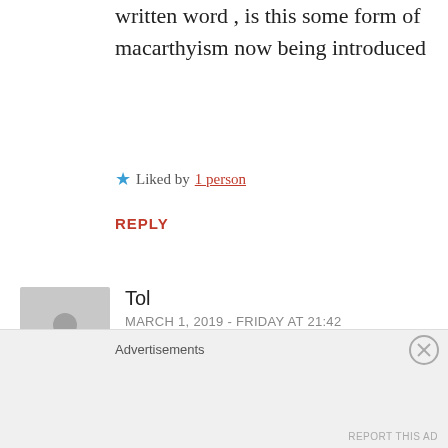written word , is this some form of macarthyism now being introduced
★ Liked by 1 person
REPLY
Tol
MARCH 1, 2019 - FRIDAY AT 21:42
@Robert T
“….safety and security of citizens…”
Was this really an exercise in safety and security of citizens?
Advertisements